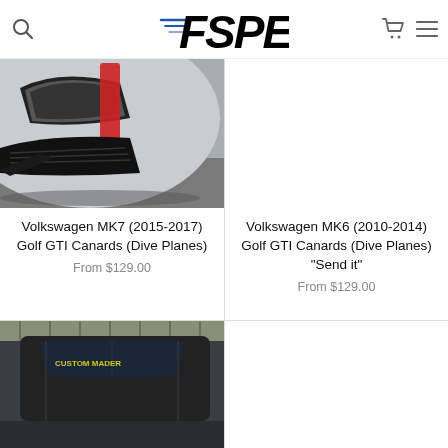FSPE
[Figure (photo): Close-up photo of Volkswagen MK7 Golf GTI front bumper/headlight area showing canard dive planes, silver and red bodywork]
Volkswagen MK7 (2015-2017) Golf GTI Canards (Dive Planes)
From $129.00
[Figure (photo): Empty/white placeholder for Volkswagen MK6 Golf GTI product image]
Volkswagen MK6 (2010-2014) Golf GTI Canards (Dive Planes) "Send it"
From $129.00
[Figure (photo): Partial photo of a dark-colored car (bottom of page, partially cut off)]
[Figure (photo): Empty/white placeholder for second bottom product image]